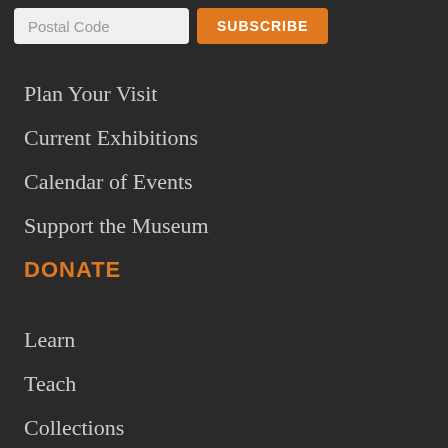[Figure (screenshot): Top bar with a postal code input field and an orange SUBSCRIBE button]
Plan Your Visit
Current Exhibitions
Calendar of Events
Support the Museum
DONATE
Learn
Teach
Collections
Academic Research
Remember Survivors and Victims